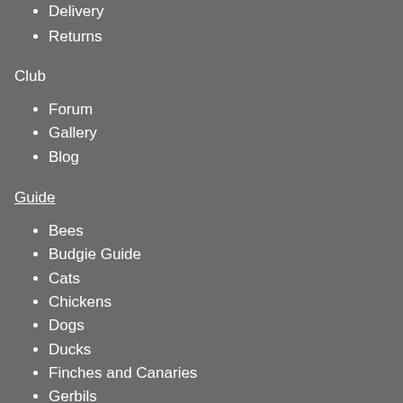Delivery
Returns
Club
Forum
Gallery
Blog
Guide
Bees
Budgie Guide
Cats
Chickens
Dogs
Ducks
Finches and Canaries
Gerbils
Guinea Pigs
Hamsters
Incubation
Parrots